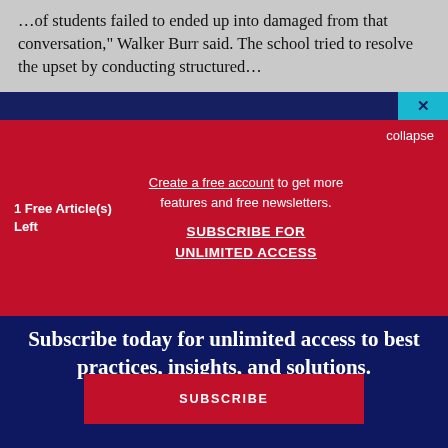...of students failed to ended up into damaged from that conversation," Walker Burr said. The school tried to resolve the upset by conducting structured...
1 Free Article(s) Left
Create a free account to get more features and free newsletters.
SUBSCRIBE FOR UNLIMITED ACCESS
collapse
Subscribe today for unlimited access to best practices, insights, and solutions.
SUBSCRIBE